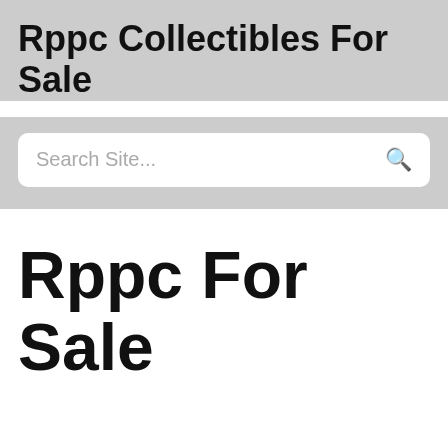Rppc Collectibles For Sale
Search Site...
Rppc For Sale